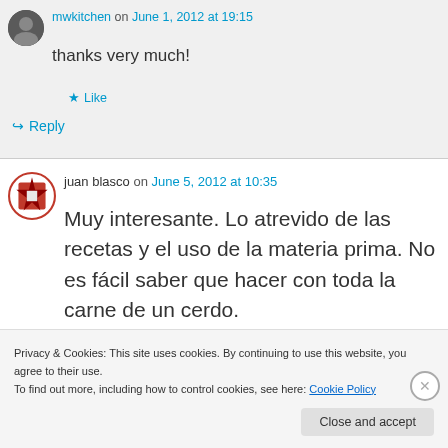mwkitchen on June 1, 2012 at 19:15
thanks very much!
Like
Reply
juan blasco on June 5, 2012 at 10:35
Muy interesante. Lo atrevido de las recetas y el uso de la materia prima. No es fácil saber que hacer con toda la carne de un cerdo.
Privacy & Cookies: This site uses cookies. By continuing to use this website, you agree to their use.
To find out more, including how to control cookies, see here: Cookie Policy
Close and accept